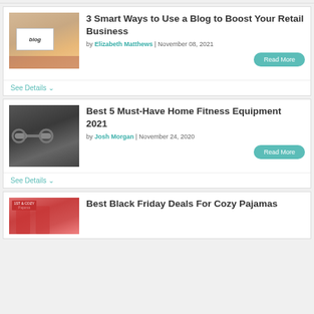[Figure (photo): Laptop showing 'blog' on screen, person typing]
3 Smart Ways to Use a Blog to Boost Your Retail Business
by Elizabeth Matthews | November 08, 2021
Read More
See Details
[Figure (photo): Fitness dumbbells on dark surface]
Best 5 Must-Have Home Fitness Equipment 2021
by Josh Morgan | November 24, 2020
Read More
See Details
[Figure (photo): Women in cozy pajamas]
Best Black Friday Deals For Cozy Pajamas